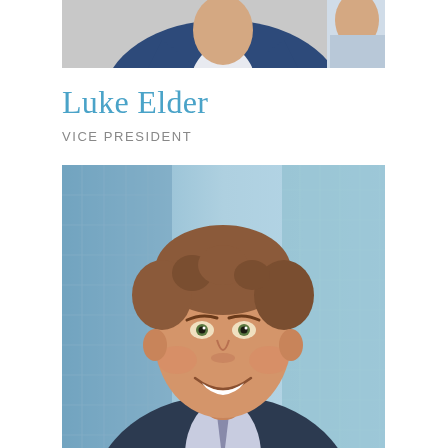[Figure (photo): Partial view of a person in a navy blue suit, cropped at the top of the page, showing shoulders and lower face area with a white shirt.]
Luke Elder
VICE PRESIDENT
[Figure (photo): Professional headshot of Luke Elder, a young man with curly brown hair, smiling, wearing a dark suit with a light purple shirt, against a blurred modern glass building background.]